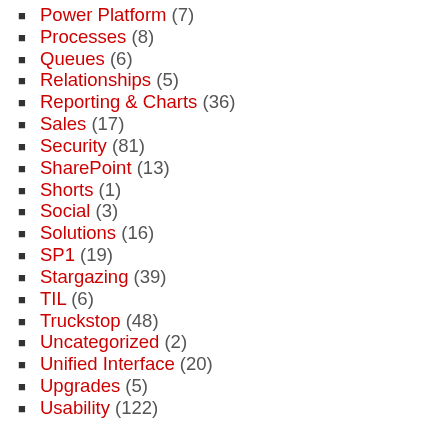Power Platform (7)
Processes (8)
Queues (6)
Relationships (5)
Reporting & Charts (36)
Sales (17)
Security (81)
SharePoint (13)
Shorts (1)
Social (3)
Solutions (16)
SP1 (19)
Stargazing (39)
TIL (6)
Truckstop (48)
Uncategorized (2)
Unified Interface (20)
Upgrades (5)
Usability (122)